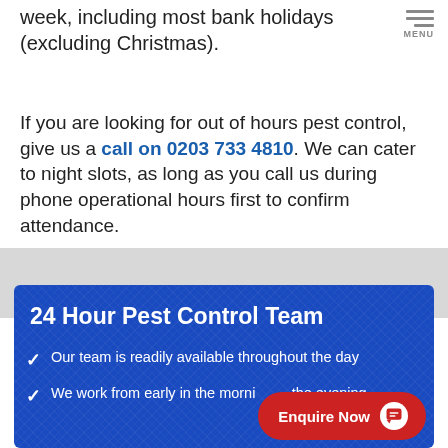week, including most bank holidays (excluding Christmas).
If you are looking for out of hours pest control, give us a call on 0203 733 4810. We can cater to night slots, as long as you call us during phone operational hours first to confirm attendance.
24 Hour Pest Control Team
Our team is readily available throughout the day
We work from early in the morning to the evening